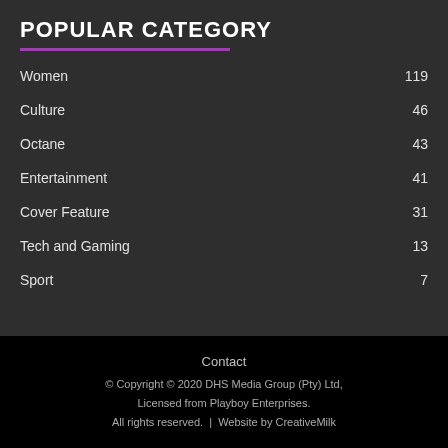POPULAR CATEGORY
Women 119
Culture 46
Octane 43
Entertainment 41
Cover Feature 31
Tech and Gaming 13
Sport 7
Contact
© Copyright © 2020 DHS Media Group (Pty) Ltd,
Licensed from Playboy Enterprises.
All rights reserved.  |  Website by CreativeMilk